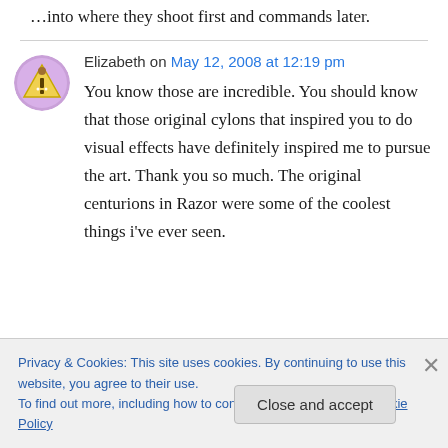…into where they shoot first and commands later.
Elizabeth on May 12, 2008 at 12:19 pm
You know those are incredible. You should know that those original cylons that inspired you to do visual effects have definitely inspired me to pursue the art. Thank you so much. The original centurions in Razor were some of the coolest things i've ever seen.
Privacy & Cookies: This site uses cookies. By continuing to use this website, you agree to their use.
To find out more, including how to control cookies, see here: Cookie Policy